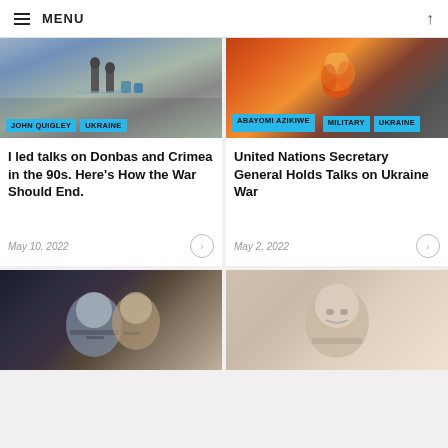MENU
[Figure (photo): Statue and workers near flooded area - Ukraine]
[Figure (photo): Explosion with orange smoke - Ukraine military]
I led talks on Donbas and Crimea in the 90s. Here's How the War Should End.
May 10, 2022
United Nations Secretary General Holds Talks on Ukraine War
May 2, 2022
[Figure (photo): Two men with glasses - article thumbnail]
[Figure (photo): Older man with glasses - article thumbnail]